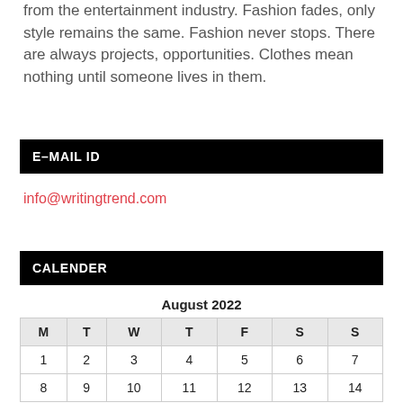from the entertainment industry. Fashion fades, only style remains the same. Fashion never stops. There are always projects, opportunities. Clothes mean nothing until someone lives in them.
E–MAIL ID
info@writingtrend.com
CALENDER
| M | T | W | T | F | S | S |
| --- | --- | --- | --- | --- | --- | --- |
| 1 | 2 | 3 | 4 | 5 | 6 | 7 |
| 8 | 9 | 10 | 11 | 12 | 13 | 14 |